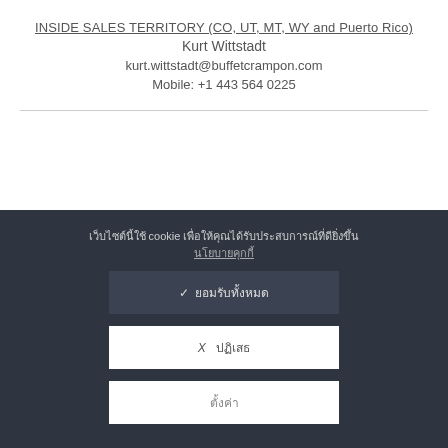INSIDE SALES TERRITORY (CO, UT, MT, WY and Puerto Rico)
Kurt Wittstadt
kurt.wittstadt@buffetcrampon.com
Mobile: +1 443 564 0225
เว็บไซต์นี้ใช้ cookie เพื่อให้คุณได้รับประสบการณ์ที่ดียิ่งขึ้น นโยบายคุกกี้
✓ ยอมรับทั้งหมด
✗ ปฏิเสธ
ตั้งค่า